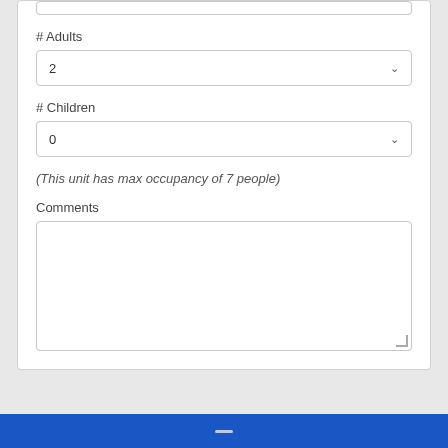# Adults
2
# Children
0
(This unit has max occupancy of 7 people)
Comments